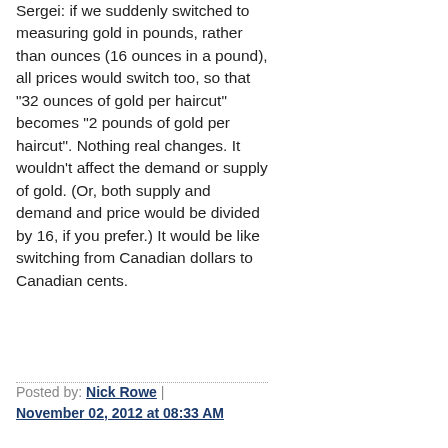Sergei: if we suddenly switched to measuring gold in pounds, rather than ounces (16 ounces in a pound), all prices would switch too, so that "32 ounces of gold per haircut" becomes "2 pounds of gold per haircut". Nothing real changes. It wouldn't affect the demand or supply of gold. (Or, both supply and demand and price would be divided by 16, if you prefer.) It would be like switching from Canadian dollars to Canadian cents.
Posted by: Nick Rowe | November 02, 2012 at 08:33 AM